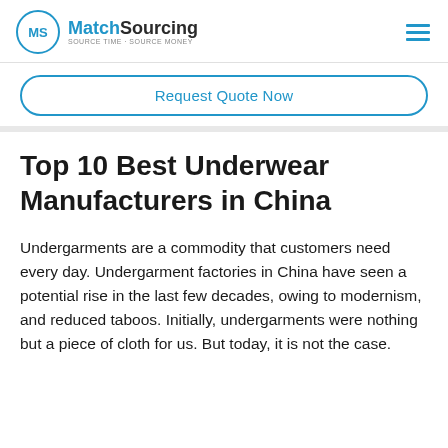MatchSourcing SOURCE TIME · SOURCE MONEY
Request Quote Now
Top 10 Best Underwear Manufacturers in China
Undergarments are a commodity that customers need every day. Undergarment factories in China have seen a potential rise in the last few decades, owing to modernism, and reduced taboos. Initially, undergarments were nothing but a piece of cloth for us. But today, it is not the case.